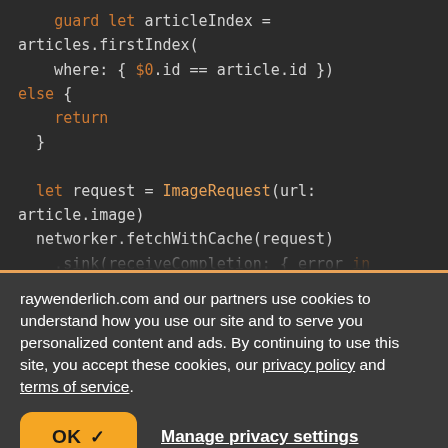[Figure (screenshot): Code editor screenshot showing Swift code with guard let articleIndex = articles.firstIndex(where: { $0.id == article.id }) else { return } and let request = ImageRequest(url: article.image) networker.fetchWithCache(request) .sink(receiveCompletion: { error in .print(error)]
raywenderlich.com and our partners use cookies to understand how you use our site and to serve you personalized content and ads. By continuing to use this site, you accept these cookies, our privacy policy and terms of service.